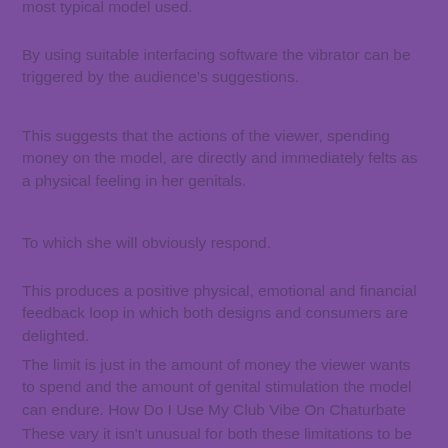most typical model used.
By using suitable interfacing software the vibrator can be triggered by the audience's suggestions.
This suggests that the actions of the viewer, spending money on the model, are directly and immediately felts as a physical feeling in her genitals.
To which she will obviously respond.
This produces a positive physical, emotional and financial feedback loop in which both designs and consumers are delighted.
The limit is just in the amount of money the viewer wants to spend and the amount of genital stimulation the model can endure. How Do I Use My Club Vibe On Chaturbate
These vary it isn't unusual for both these limitations to be very high